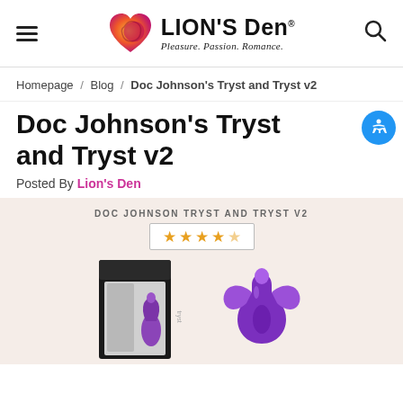Lion's Den — Pleasure. Passion. Romance.
Homepage / Blog / Doc Johnson's Tryst and Tryst v2
Doc Johnson's Tryst and Tryst v2
Posted By Lion's Den
[Figure (photo): Product image showing Doc Johnson Tryst and Tryst v2 with 4.5 star rating, packaging box and purple product silhouette on a light peach background.]